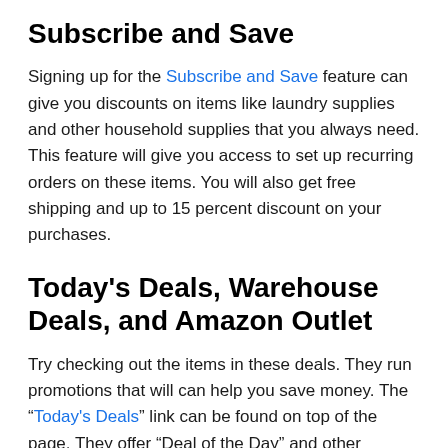Subscribe and Save
Signing up for the Subscribe and Save feature can give you discounts on items like laundry supplies and other household supplies that you always need. This feature will give you access to set up recurring orders on these items. You will also get free shipping and up to 15 percent discount on your purchases.
Today’s Deals, Warehouse Deals, and Amazon Outlet
Try checking out the items in these deals. They run promotions that will can help you save money. The “Today’s Deals” link can be found on top of the page. They offer “Deal of the Day” and other limited-time offers. The Amazon Outlet offers deep discounts for a